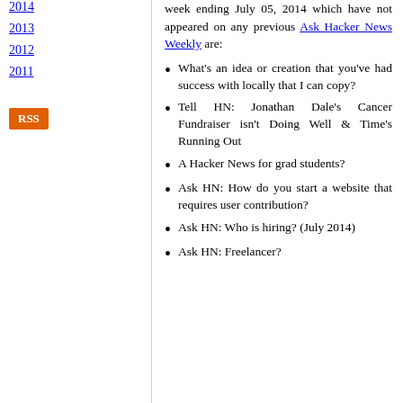2014
2013
2012
2011
[Figure (other): RSS button - orange rectangle with white RSS text]
week ending July 05, 2014 which have not appeared on any previous Ask Hacker News Weekly are:
What's an idea or creation that you've had success with locally that I can copy?
Tell HN: Jonathan Dale's Cancer Fundraiser isn't Doing Well & Time's Running Out
A Hacker News for grad students?
Ask HN: How do you start a website that requires user contribution?
Ask HN: Who is hiring? (July 2014)
Ask HN: Freelancer?